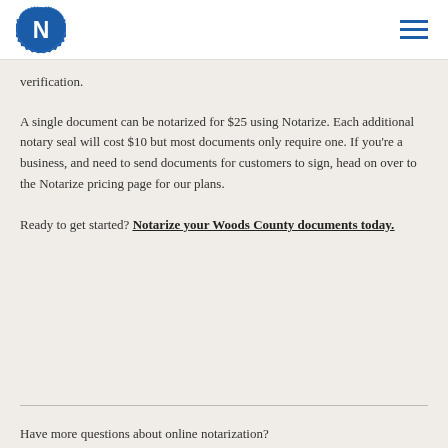Notarize [logo]
verification.
A single document can be notarized for $25 using Notarize. Each additional notary seal will cost $10 but most documents only require one. If you're a business, and need to send documents for customers to sign, head on over to the Notarize pricing page for our plans.
Ready to get started? Notarize your Woods County documents today.
Have more questions about online notarization?